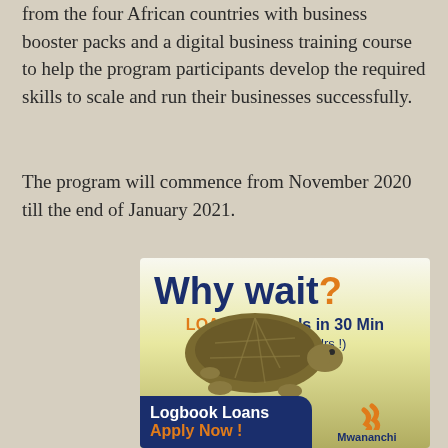from the four African countries with business booster packs and a digital business training course to help the program participants develop the required skills to scale and run their businesses successfully.
The program will commence from November 2020 till the end of January 2021.
[Figure (infographic): Advertisement for Mwananchi loan service. Heading 'Why wait?' with 'LOAN approvals in 30 Min (Disbursed in 6 Hrs!)'. Image shows a tortoise. Bottom bar shows 'Logbook Loans Apply Now!' and Mwananchi logo.]